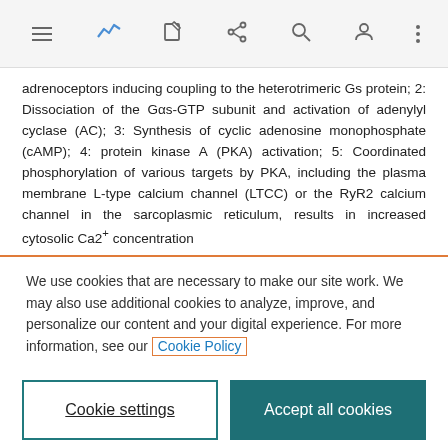[Navigation bar with menu, activity, edit, share, search, profile, more icons]
adrenoceptors inducing coupling to the heterotrimeric Gs protein; 2: Dissociation of the Gαs-GTP subunit and activation of adenylyl cyclase (AC); 3: Synthesis of cyclic adenosine monophosphate (cAMP); 4: protein kinase A (PKA) activation; 5: Coordinated phosphorylation of various targets by PKA, including the plasma membrane L-type calcium channel (LTCC) or the RyR2 calcium channel in the sarcoplasmic reticulum, results in increased cytosolic Ca2+ concentration
We use cookies that are necessary to make our site work. We may also use additional cookies to analyze, improve, and personalize our content and your digital experience. For more information, see our Cookie Policy
Cookie settings
Accept all cookies